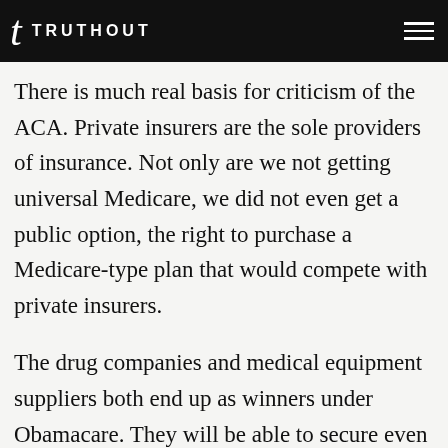TRUTHOUT
There is much real basis for criticism of the ACA. Private insurers are the sole providers of insurance. Not only are we not getting universal Medicare, we did not even get a public option, the right to purchase a Medicare-type plan that would compete with private insurers.
The drug companies and medical equipment suppliers both end up as winners under Obamacare. They will be able to secure even greater profits from their government provided patent monopolies since the ACA does little to